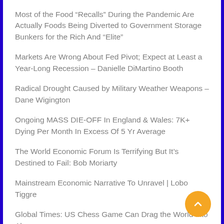Most of the Food “Recalls” During the Pandemic Are Actually Foods Being Diverted to Government Storage Bunkers for the Rich And “Elite”
Markets Are Wrong About Fed Pivot; Expect at Least a Year-Long Recession – Danielle DiMartino Booth
Radical Drought Caused by Military Weather Weapons – Dane Wigington
Ongoing MASS DIE-OFF In England & Wales: 7K+ Dying Per Month In Excess Of 5 Yr Average
The World Economic Forum Is Terrifying But It’s Destined to Fail: Bob Moriarty
Mainstream Economic Narrative To Unravel | Lobo Tiggre
Global Times: US Chess Game Can Drag the World into Abyss
WEF Declares ‘We Just Don’t Need The Vast Majority of You